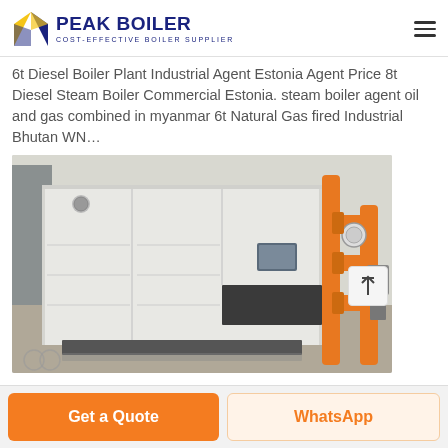[Figure (logo): Peak Boiler logo with yellow/blue geometric house icon and text 'PEAK BOILER - COST-EFFECTIVE BOILER SUPPLIER']
6t Diesel Boiler Plant Industrial Agent Estonia Agent Price 8t Diesel Steam Boiler Commercial Estonia. steam boiler agent oil and gas combined in myanmar 6t Natural Gas fired Industrial Bhutan WN…
[Figure (photo): Large white industrial gas/diesel boiler unit installed in a facility, with orange piping visible on the right side. The boiler is a rectangular white cabinet-style unit with control panel.]
Get a Quote
WhatsApp